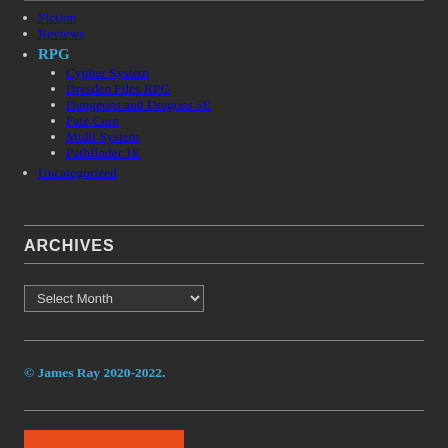Fiction
Reviews
RPG
Cypher System
Dresden Files RPG
Dungeons and Dragons 5E
Fate Core
Multi System
Pathfinder 1E
Uncategorized
ARCHIVES
Select Month
© James Ray 2020-2022.